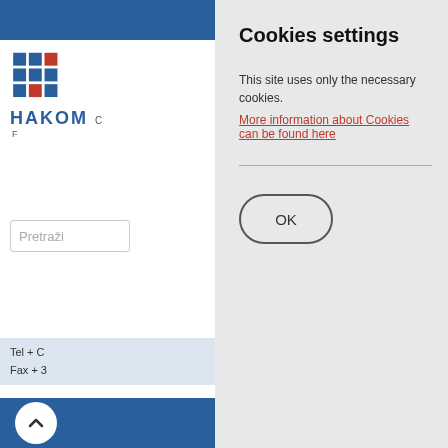[Figure (screenshot): HAKOM website logo with blue and red pixel grid icon and HAKOM text in blue]
Pretraži
Fax + 3
Media inq official we
About
HAKOM - Industries competiti innovatio
Cookies settings
This site uses only the necessary cookies.
More information about Cookies can be found here
OK